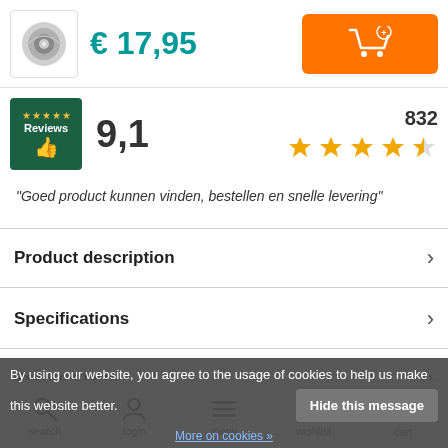[Figure (photo): Product thumbnail: recessed spotlight fixture, silver/chrome]
€ 17,95
[Figure (other): Orange add-to-cart button with shopping cart icon and plus sign]
[Figure (other): Reviews badge: dark blue/green background with 5 gold stars, thumbs up icon, and 'Reviews' text]
9,1
832
[Figure (other): Star rating: 4.5 out of 5 gold stars (five star icons, last one half-filled)]
“Goed product kunnen vinden, bestellen en snelle levering”
Product description
Specifications
Product tags
By using our website, you agree to the usage of cookies to help us make this website better.
Hide this message
More on cookies »
search   login   menu   wishlist   cart